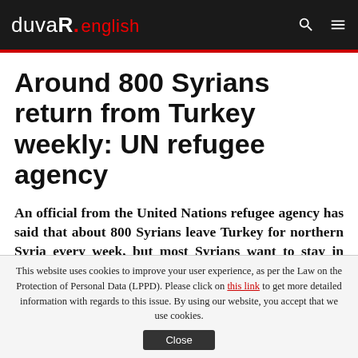duvaR. english
Around 800 Syrians return from Turkey weekly: UN refugee agency
An official from the United Nations refugee agency has said that about 800 Syrians leave Turkey for northern Syria every week, but most Syrians want to stay in Turkey as their economic conditions are more favorable than in their home country.
This website uses cookies to improve your user experience, as per the Law on the Protection of Personal Data (LPPD). Please click on this link to get more detailed information with regards to this issue. By using our website, you accept that we use cookies.